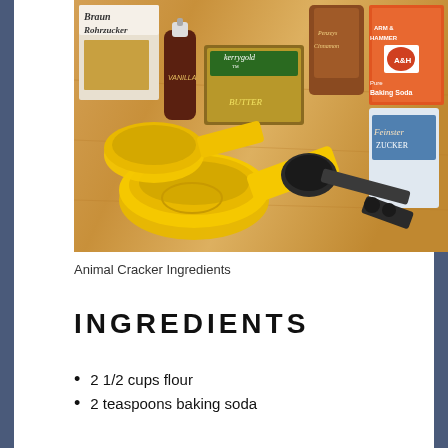[Figure (photo): Baking ingredients on a wooden surface including yellow measuring cups and spoons, Kerrygold butter, vanilla extract, brown sugar box (Braun Rohrzucker), Arm & Hammer baking soda, cinnamon, and Feinster Zucker fine sugar]
Animal Cracker Ingredients
INGREDIENTS
2 1/2 cups flour
2 teaspoons baking soda